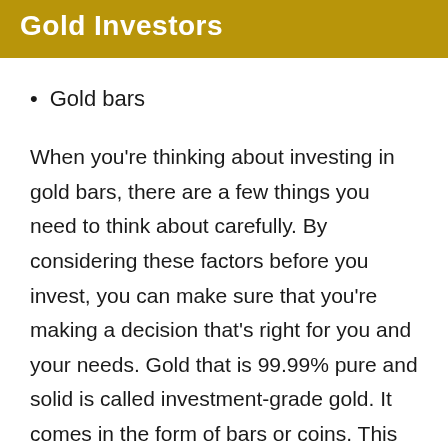Gold Investors
Gold bars
When you’re thinking about investing in gold bars, there are a few things you need to think about carefully. By considering these factors before you invest, you can make sure that you’re making a decision that’s right for you and your needs. Gold that is 99.99% pure and solid is called investment-grade gold. It comes in the form of bars or coins. This kind of gold has value because the price of it is set by how